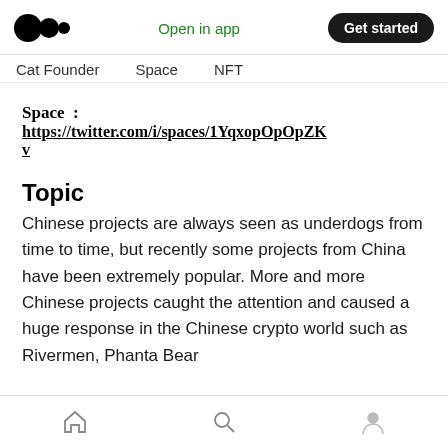Medium logo | Open in app | Get started
Cat Founder   Space   NFT
Space : https://twitter.com/i/spaces/1YqxopOpOpZKv
Topic
Chinese projects are always seen as underdogs from time to time, but recently some projects from China have been extremely popular. More and more Chinese projects caught the attention and caused a huge response in the Chinese crypto world such as Rivermen, Phanta Bear
Home | Search | Profile